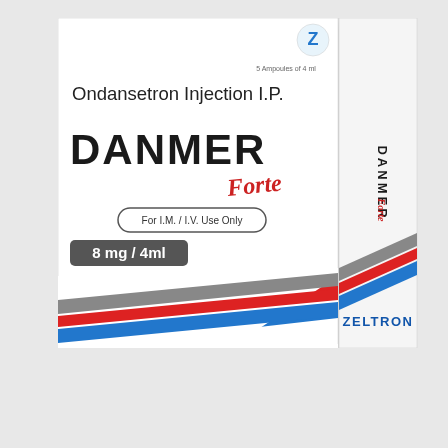[Figure (photo): Pharmaceutical product box for Danmer Forte (Ondansetron Injection I.P.) 8mg/4ml, 5 Ampoules of 4ml, manufactured by Zeltron. Box shows front and side panels with diagonal grey, red and blue stripe design. Front panel shows brand name DANMER in bold black, Forte in red italic script, generic name Ondansetron Injection I.P., dosage 8mg/4ml in grey badge, For I.M./I.V. Use Only in rounded border badge, Zeltron logo at top right. Side panel shows DANMER Forte text vertically and Zeltron brand name.]